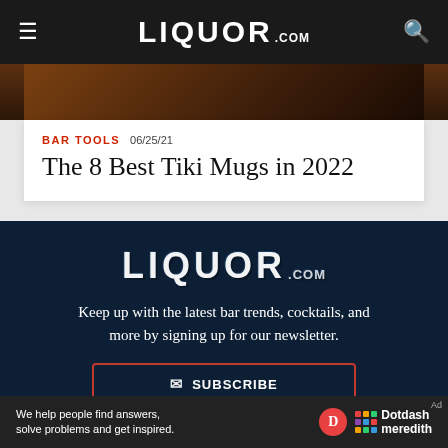LIQUOR.COM
[Figure (photo): Dark background hero image strip showing a blurred bar/drink scene]
BAR TOOLS  06/25/21
The 8 Best Tiki Mugs in 2022
[Figure (logo): LIQUOR.COM logo in white on dark navy background]
Keep up with the latest bar trends, cocktails, and more by signing up for our newsletter.
SUBSCRIBE
We help people find answers, solve problems and get inspired. Dotdash meredith